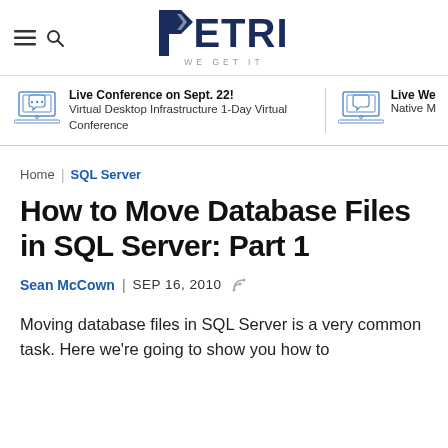PETRI WE GET IT
Live Conference on Sept. 22! Virtual Desktop Infrastructure 1-Day Virtual Conference
Live We... Native M...
Home | SQL Server
How to Move Database Files in SQL Server: Part 1
Sean McCown | SEP 16, 2010
Moving database files in SQL Server is a very common task. Here we're going to show you how to